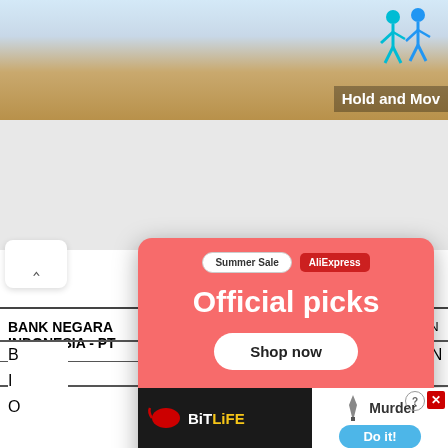[Figure (screenshot): Top portion of a webpage showing a game advertisement (Hold and Move) in the upper right corner with a beach/sand background and cartoon figures]
[Figure (screenshot): AliExpress Summer Sale popup advertisement showing 'Official picks' with 'Shop now' button and product images (robot vacuum, gaming console, Nintendo Switch)]
|  |  |  | BN... |
| --- | --- | --- | --- |
| BANK NEGARA INDONESIA - PT | PONTIANAK | (PONTIANAK BRANCH) | BN... |
| (PERS... |  |  |  |
[Figure (screenshot): BitLife mobile game advertisement at the bottom showing 'Murder - Do it!' with BitLife logo]